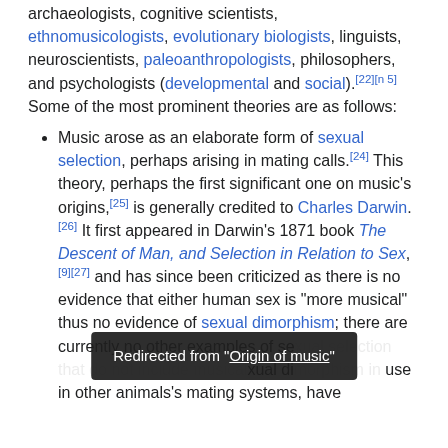archaeologists, cognitive scientists, ethnomusicologists, evolutionary biologists, linguists, neuroscientists, paleoanthropologists, philosophers, and psychologists (developmental and social).[22][n 5] Some of the most prominent theories are as follows:
Music arose as an elaborate form of sexual selection, perhaps arising in mating calls.[24] This theory, perhaps the first significant one on music's origins,[25] is generally credited to Charles Darwin.[26] It first appeared in Darwin's 1871 book The Descent of Man, and Selection in Relation to Sex,[9][27] and has since been criticized as there is no evidence that either human sex is "more musical" thus no evidence of sexual dimorphism; there are currently no other examples of se...xual di... use in other animals's mating systems, have
Redirected from "Origin of music"